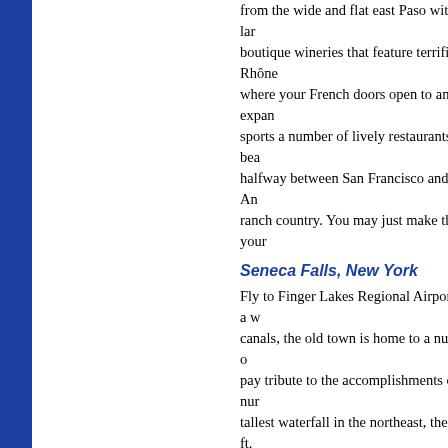from the wide and flat east Paso with its lar... boutique wineries that feature terrific Rhône... where your French doors open to an expan... sports a number of lively restaurants, a bea... halfway between San Francisco and Los An... ranch country. You may just make this your...
Seneca Falls, New York
Fly to Finger Lakes Regional Airport for a w... canals, the old town is home to a number o... pay tribute to the accomplishments of a nur... tallest waterfall in the northeast, the 215-ft.... mild climate here is ideal for grapes. When... traditional Austrian cuisine in a modern roo... traditional hotels in which to end your perfe...
[Figure (infographic): Bush flying banner with airplane icon and text 'bush flying' on a blue gradient background]
West Fork Lodge, Montana
There is a wonderful lodge tucked up again... and Heidi Irwin settled at the West Fork Lod... long haul. They'll do almost anything to mak...